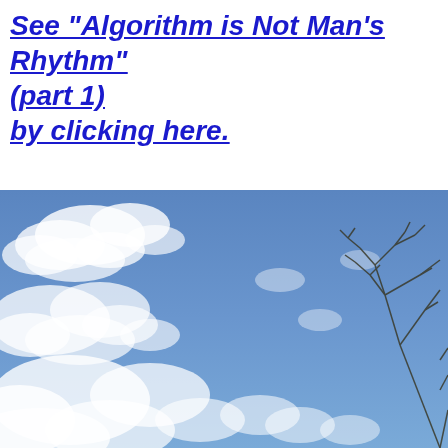See "Algorithm is Not Man's Rhythm" (part 1) by clicking here.
[Figure (photo): A blue sky with scattered white cumulus clouds and a bare tree branch visible in the lower right corner.]